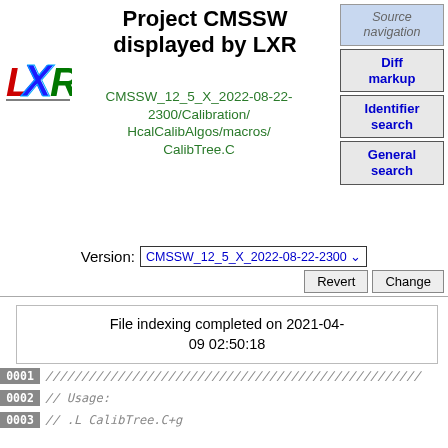Project CMSSW displayed by LXR
CMSSW_12_5_X_2022-08-22-2300/Calibration/HcalCalibAlgos/macros/CalibTree.C
[Figure (logo): LXR logo with colorful letters L, X, R]
Source navigation
Diff markup
Identifier search
General search
Version: CMSSW_12_5_X_2022-08-22-2300
Revert  Change
File indexing completed on 2021-04-09 02:50:18
0001 ////////////////////////////////////////////////////////////////////
0002 // Usage:
0003 // .L CalibTree.C+g